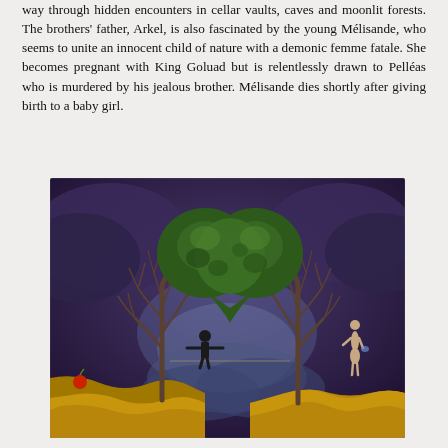way through hidden encounters in cellar vaults, caves and moonlit forests. The brothers' father, Arkel, is also fascinated by the young Mélisande, who seems to unite an innocent child of nature with a demonic femme fatale. She becomes pregnant with King Goluad but is relentlessly drawn to Pelléas who is murdered by his jealous brother. Mélisande dies shortly after giving birth to a baby girl.
[Figure (illustration): Surrealist painting showing two bare trees on separate cliffs with a heart-shaped green canopy formed between them at the top center. A man in a suit balances on a tightrope stretched between the two cliffs over a stormy sky. A nude female figure stands on the right cliff. A red apple sits on the left cliff edge. Dark purple stormy clouds fill the background.]